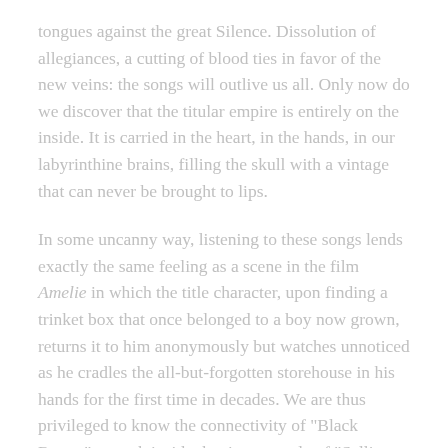tongues against the great Silence. Dissolution of allegiances, a cutting of blood ties in favor of the new veins: the songs will outlive us all. Only now do we discover that the titular empire is entirely on the inside. It is carried in the heart, in the hands, in our labyrinthine brains, filling the skull with a vintage that can never be brought to lips.
In some uncanny way, listening to these songs lends exactly the same feeling as a scene in the film Amelie in which the title character, upon finding a trinket box that once belonged to a boy now grown, returns it to him anonymously but watches unnoticed as he cradles the all-but-forgotten storehouse in his hands for the first time in decades. We are thus privileged to know the connectivity of "Black Roses," to peek inside the time capsule of "Selling Birds," and to taste the flightless habitus of "The